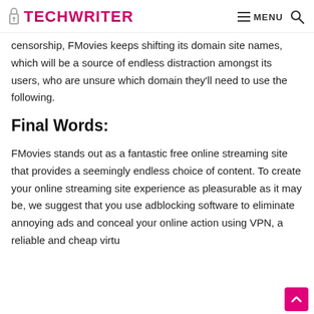TECHWRITER — MENU (search)
censorship, FMovies keeps shifting its domain site names, which will be a source of endless distraction amongst its users, who are unsure which domain they'll need to use the following.
Final Words:
FMovies stands out as a fantastic free online streaming site that provides a seemingly endless choice of content. To create your online streaming site experience as pleasurable as it may be, we suggest that you use adblocking software to eliminate annoying ads and conceal your online action using VPN, a reliable and cheap virtual private network support.